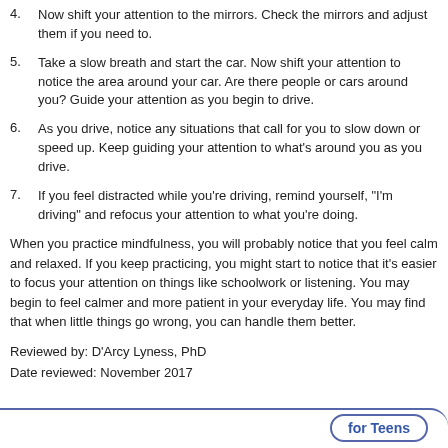4. Now shift your attention to the mirrors. Check the mirrors and adjust them if you need to.
5. Take a slow breath and start the car. Now shift your attention to notice the area around your car. Are there people or cars around you? Guide your attention as you begin to drive.
6. As you drive, notice any situations that call for you to slow down or speed up. Keep guiding your attention to what's around you as you drive.
7. If you feel distracted while you're driving, remind yourself, "I'm driving" and refocus your attention to what you're doing.
When you practice mindfulness, you will probably notice that you feel calm and relaxed. If you keep practicing, you might start to notice that it's easier to focus your attention on things like schoolwork or listening. You may begin to feel calmer and more patient in your everyday life. You may find that when little things go wrong, you can handle them better.
Reviewed by: D'Arcy Lyness, PhD
Date reviewed: November 2017
for Teens